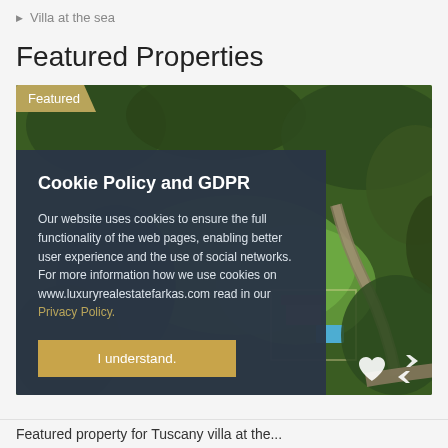Villa at the sea
Featured Properties
[Figure (screenshot): Aerial photo of a luxury property with a house, pool, and surrounding green landscape. A 'Featured' badge is shown in the top-left corner. A GDPR/Cookie Policy overlay dialog covers the left portion of the image with text and an 'I understand.' button.]
Cookie Policy and GDPR
Our website uses cookies to ensure the full functionality of the web pages, enabling better user experience and the use of social networks. For more information how we use cookies on www.luxuryrealestatefarkas.com read in our Privacy Policy.
I understand.
Featured property for Tuscany villa at the...